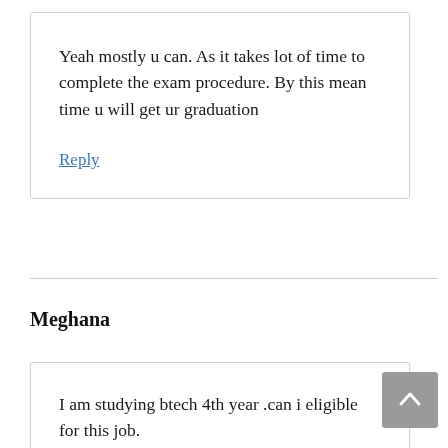Yeah mostly u can. As it takes lot of time to complete the exam procedure. By this mean time u will get ur graduation
Reply
Meghana
I am studying btech 4th year .can i eligible for this job.